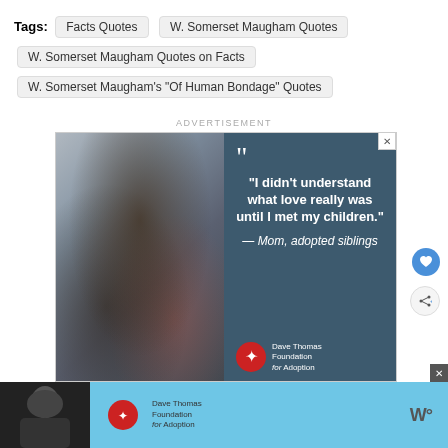Tags: Facts Quotes | W. Somerset Maugham Quotes | W. Somerset Maugham Quotes on Facts | W. Somerset Maugham's "Of Human Bondage" Quotes
ADVERTISEMENT
[Figure (photo): Advertisement image: family photo on left (man, woman, and two children smiling), dark blue panel on right with quote 'I didn't understand what love really was until I met my children.' attributed to 'Mom, adopted siblings', with Dave Thomas Foundation for Adoption logo. Close X button top right.]
[Figure (photo): Bottom banner advertisement on dark background featuring a person in a beanie hat, a light blue section, and Dave Thomas Foundation for Adoption logo on right side with WD logo.]